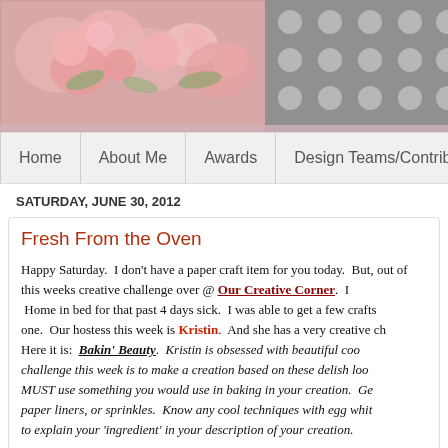[Figure (photo): Blog header banner with floral pattern on left side and grey polka dot pattern on right side]
Home | About Me | Awards | Design Teams/Contributo...
SATURDAY, JUNE 30, 2012
Fresh From the Oven
Happy Saturday.  I don't have a paper craft item for you today.  But, out of this weeks creative challenge over @ Our Creative Corner.  I Home in bed for that past 4 days sick.  I was able to get a few crafts one.  Our hostess this week is Kristin.  And she has a very creative ch Here it is:  Bakin' Beauty.  Kristin is obsessed with beautiful coo challenge this week is to make a creation based on these delish loo MUST use something you would use in baking in your creation.  Ge paper liners, or sprinkles.  Know any cool techniques with egg whit to explain your 'ingredient' in your description of your creation.
Here is an inspirational photo: